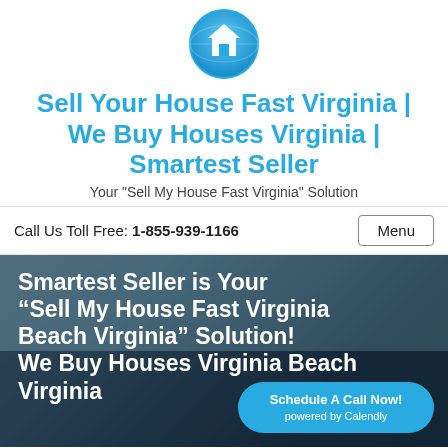[Figure (logo): Blue circular logo with house icon (white house silhouette on blue globe/circle background)]
Sell Your House Fast Virginia | We Buy Houses Virginia | Smartest Seller
Your "Sell My House Fast Virginia" Solution
Call Us Toll Free: 1-855-939-1166    Menu
Smartest Seller is Your “Sell My House Fast Virginia Beach Virginia” Solution! We Buy Houses Virginia Beach Virginia